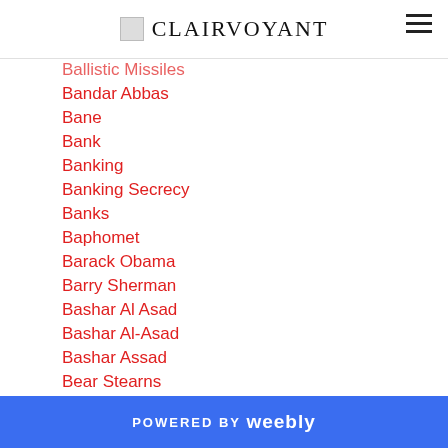CLAIRVOYANT
Ballistic Missiles
Bandar Abbas
Bane
Bank
Banking
Banking Secrecy
Banks
Baphomet
Barack Obama
Barry Sherman
Bashar Al Asad
Bashar Al-Asad
Bashar Assad
Bear Stearns
Beelzebub
POWERED BY weebly